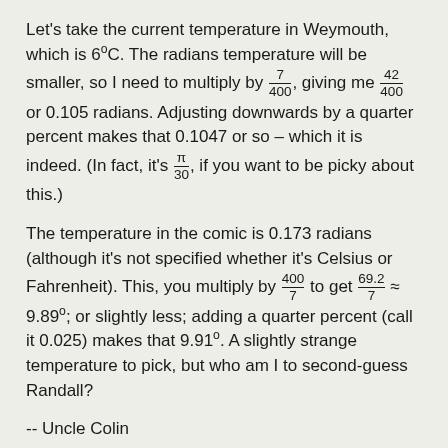Let's take the current temperature in Weymouth, which is 6°C. The radians temperature will be smaller, so I need to multiply by 7/400, giving me 42/400 or 0.105 radians. Adjusting downwards by a quarter percent makes that 0.1047 or so – which it is indeed. (In fact, it's π/30, if you want to be picky about this.)
The temperature in the comic is 0.173 radians (although it's not specified whether it's Celsius or Fahrenheit). This, you multiply by 400/7 to get 69.2/7 ≈ 9.89°; or slightly less; adding a quarter percent (call it 0.025) makes that 9.91°. A slightly strange temperature to pick, but who am I to second-guess Randall?
-- Uncle Colin
A selection of other posts
Oct 14, 2020